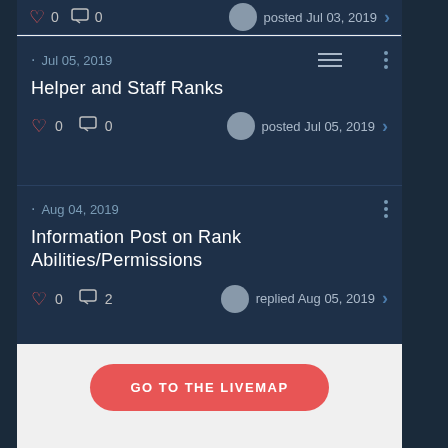♡ 0  ◻ 0   posted Jul 03, 2019 ›
· Jul 05, 2019
Helper and Staff Ranks
♡ 0  ◻ 0   posted Jul 05, 2019 ›
· Aug 04, 2019
Information Post on Rank Abilities/Permissions
♡ 0  ◻ 2   replied Aug 05, 2019 ›
GO TO THE LIVEMAP